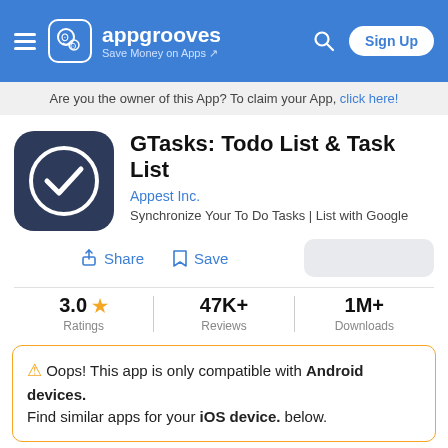appgrooves — Save Money on Apps | Sign Up
Are you the owner of this App? To claim your App, click here!
GTasks: Todo List & Task List
Appest Inc.
Synchronize Your To Do Tasks | List with Google
Share  Save
3.0 ★ Ratings | 47K+ Reviews | 1M+ Downloads
⚠ Oops! This app is only compatible with Android devices. Find similar apps for your iOS device. below.